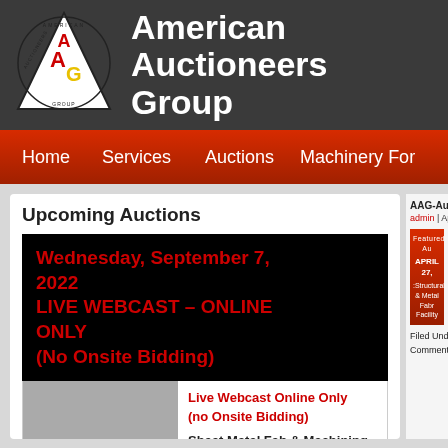[Figure (logo): American Auctioneers Group triangle logo with AAG letters]
American Auctioneers Group
Home | Services | Auctions | Machinery For
Upcoming Auctions
Wednesday, September 7, 2022
LIVE WEBCAST – ONLINE ONLY
(No Onsite Bidding)
Live Webcast Online Only (no Onsite Bidding)
Sheet Metal Fab & Machining Facility
AAG-Au
admin | April
[Figure (illustration): Featured Auction box - April 27 Structural & Metal Fab Facility]
Filed Under:
Comments a